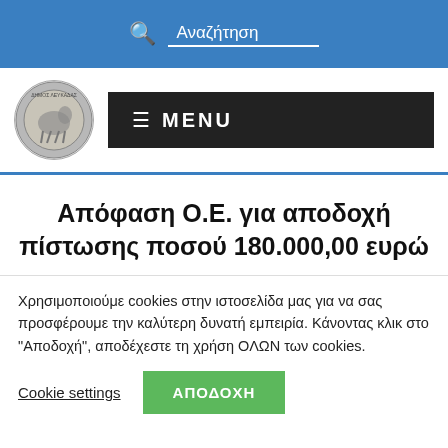Αναζήτηση
[Figure (logo): Δήμος Λευκάδας circular logo with coin/horse motif]
≡ MENU
Απόφαση Ο.Ε. για αποδοχή πίστωσης ποσού 180.000,00 ευρώ
Χρησιμοποιούμε cookies στην ιστοσελίδα μας για να σας προσφέρουμε την καλύτερη δυνατή εμπειρία. Κάνοντας κλικ στο "Αποδοχή", αποδέχεστε τη χρήση ΟΛΩΝ των cookies.
Cookie settings   ΑΠΟΔΟΧΗ